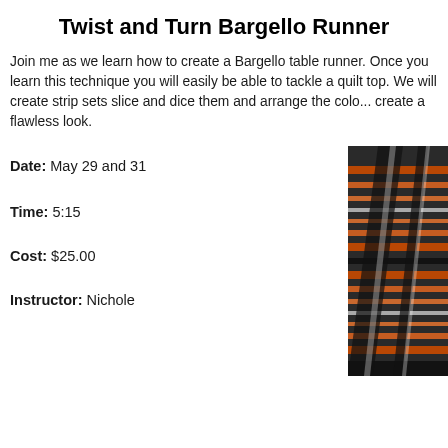Twist and Turn Bargello Runner
Join me as we learn how to create a Bargello table runner. Once you learn this technique you will easily be able to tackle a quilt top. We will create strip sets slice and dice them and arrange the colors to create a flawless look.
Date: May 29 and 31
Time: 5:15
Cost: $25.00
[Figure (photo): Photo of a Bargello quilt runner with orange, black, and white geometric pattern]
Instructor: Nichole